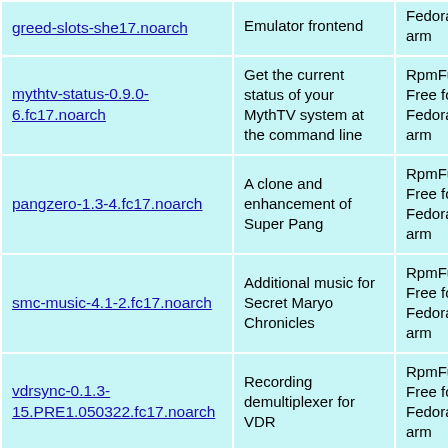| Package | Description | Repository |
| --- | --- | --- |
| greed-slots-she17.noarch | Emulator frontend | Fedora 17 for arm |
| mythtv-status-0.9.0-6.fc17.noarch | Get the current status of your MythTV system at the command line | RpmFusion Free for Fedora 17 for arm |
| pangzero-1.3-4.fc17.noarch | A clone and enhancement of Super Pang | RpmFusion Free for Fedora 17 for arm |
| smc-music-4.1-2.fc17.noarch | Additional music for Secret Maryo Chronicles | RpmFusion Free for Fedora 17 for arm |
| vdrsync-0.1.3-15.PRE1.050322.fc17.noarch | Recording demultiplexer for VDR | RpmFusion Free for Fedora 17 for arm |
| wormsofprey-data-20051221-4.fc17.noarch | Data for worms of prey | RpmFusion Free for Fedora 17 for arm |
| (partial row) |  | RpmFusion |